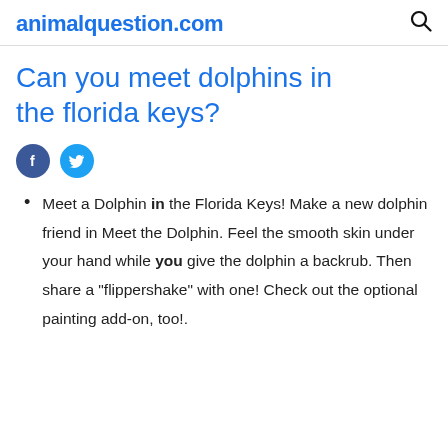animalquestion.com
Can you meet dolphins in the florida keys?
Meet a Dolphin in the Florida Keys! Make a new dolphin friend in Meet the Dolphin. Feel the smooth skin under your hand while you give the dolphin a backrub. Then share a "flippershake" with one! Check out the optional painting add-on, too!.